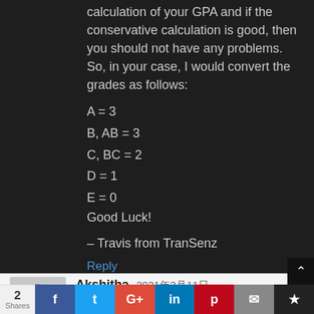calculation of your GPA and if the conservative calculation is good, then you should not have any problems. So, in your case, I would convert the grades as follows:
A = 3
B, AB = 3
C, BC = 2
D = 1
E = 0
Good Luck!
– Travis from TranSenz
Reply
Akshitha 2021年3月11日
Hi, I am aks from India ,could you please convert my grade system to